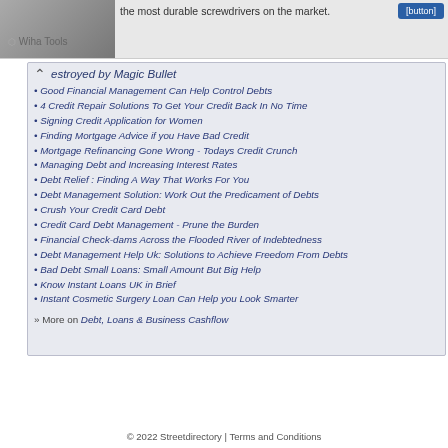[Figure (photo): Partial image of hands/tools in top left]
the most durable screwdrivers on the market.
Wiha Tools
estroyed by Magic Bullet
Good Financial Management Can Help Control Debts
4 Credit Repair Solutions To Get Your Credit Back In No Time
Signing Credit Application for Women
Finding Mortgage Advice if you Have Bad Credit
Mortgage Refinancing Gone Wrong - Todays Credit Crunch
Managing Debt and Increasing Interest Rates
Debt Relief : Finding A Way That Works For You
Debt Management Solution: Work Out the Predicament of Debts
Crush Your Credit Card Debt
Credit Card Debt Management - Prune the Burden
Financial Check-dams Across the Flooded River of Indebtedness
Debt Management Help Uk: Solutions to Achieve Freedom From Debts
Bad Debt Small Loans: Small Amount But Big Help
Know Instant Loans UK in Brief
Instant Cosmetic Surgery Loan Can Help you Look Smarter
» More on Debt, Loans & Business Cashflow
© 2022 Streetdirectory | Terms and Conditions